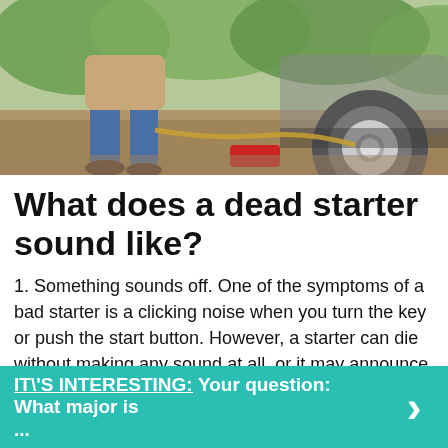[Figure (photo): Person working under a car, using rope or tow strap near a wheel/tire, outdoors on gravel with vegetation in background]
What does a dead starter sound like?
1. Something sounds off. One of the symptoms of a bad starter is a clicking noise when you turn the key or push the start button. However, a starter can die without making any sound at all, or it may announce its impending death with whirring and grinding noise—so listen up!
IT\'S INTERESTING:  Your question: What major is